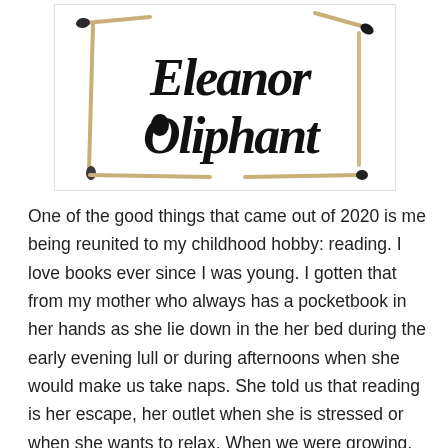[Figure (photo): A photo of a card or paper with 'Eleanor Oliphant' written in black brush calligraphy script, framed by burnt matches arranged as a border/house shape on a white background.]
One of the good things that came out of 2020 is me being reunited to my childhood hobby: reading. I love books ever since I was young. I gotten that from my mother who always has a pocketbook in her hands as she lie down in the her bed during the early evening lull or during afternoons when she would make us take naps. She told us that reading is her escape, her outlet when she is stressed or when she wants to relax. When we were growing, we found ourselves loving reading and books as well. I